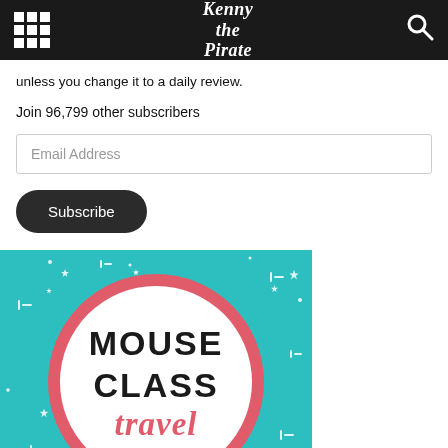Kenny the Pirate
unless you change it to a daily review.
Join 96,799 other subscribers
Email Address
Subscribe
[Figure (logo): Mouse Class Travel logo: white circle with coral/pink border on teal background with sparkles. Text reads MOUSE CLASS travel in bold black and coral script lettering.]